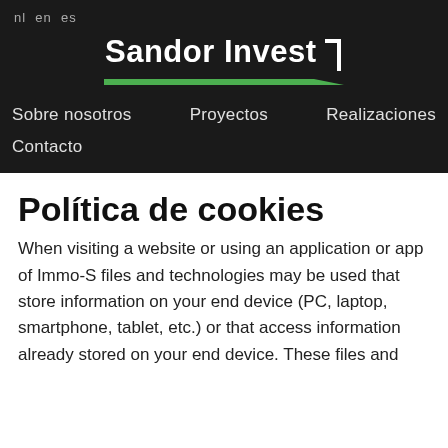nl  en  es
Sandor Invest
Sobre nosotros   Proyectos   Realizaciones   Contacto
Política de cookies
When visiting a website or using an application or app of Immo-S files and technologies may be used that store information on your end device (PC, laptop, smartphone, tablet, etc.) or that access information already stored on your end device. These files and